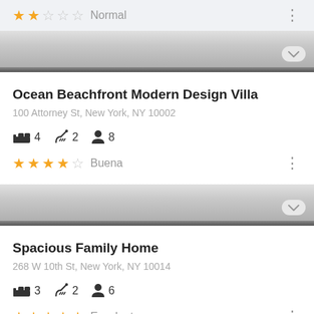★★☆☆☆ Normal
[Figure (screenshot): Faded property card image strip with expand/collapse button]
Ocean Beachfront Modern Design Villa
100 Attorney St, New York, NY 10002
🛏 4  🚿 2  👤 8
★★★★☆ Buena
[Figure (screenshot): Faded property card image strip with expand/collapse button]
Spacious Family Home
268 W 10th St, New York, NY 10014
🛏 3  🚿 2  👤 6
★★★★★ Excelente